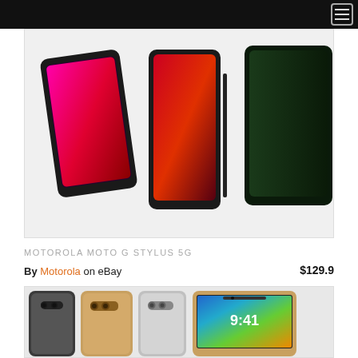[Figure (photo): Motorola Moto G Stylus 5G smartphone product photo showing devices with colorful screens on light background]
MOTOROLA MOTO G STYLUS 5G
By Motorola  on eBay   $129.9
[Figure (photo): iPhone 8 Plus product photo showing multiple color variants (space gray, gold, silver) from back and front angles]